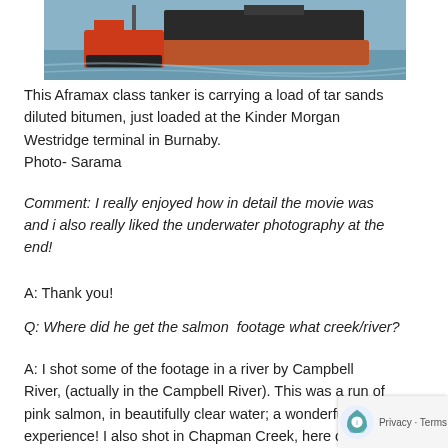[Figure (photo): Partial view of an Aframax class tanker ship on water, with a tugboat alongside. The ship has a red/orange hull. Water visible around the vessels.]
This Aframax class tanker is carrying a load of tar sands diluted bitumen, just loaded at the Kinder Morgan Westridge terminal in Burnaby.
Photo- Sarama
Comment: I really enjoyed how in detail the movie was and i also really liked the underwater photography at the end!
A: Thank you!
Q: Where did he get the salmon  footage what creek/river?
A: I shot some of the footage in a river by Campbell River, (actually in the Campbell River). This was a run of pink salmon, in beautifully clear water; a wonderful experience! I also shot in Chapman Creek, here on the Sunshine Coast. As well, a short clip that is near the opening of the film briefly shows salmon fry in a very